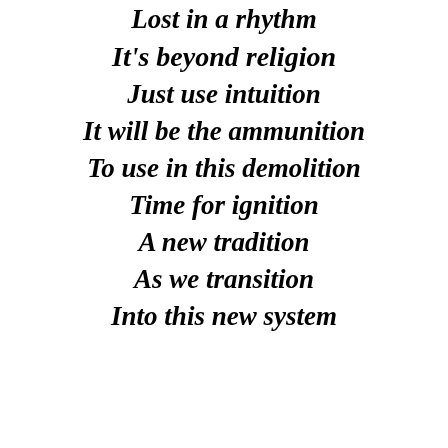Lost in a rhythm
It's beyond religion
Just use intuition
It will be the ammunition
To use in this demolition
Time for ignition
A new tradition
As we transition
Into this new system